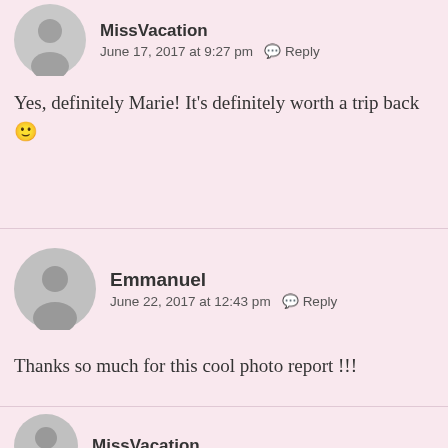MissVacation
June 17, 2017 at 9:27 pm  Reply
Yes, definitely Marie! It's definitely worth a trip back 🙂
Emmanuel
June 22, 2017 at 12:43 pm  Reply
Thanks so much for this cool photo report !!!
MissVacation